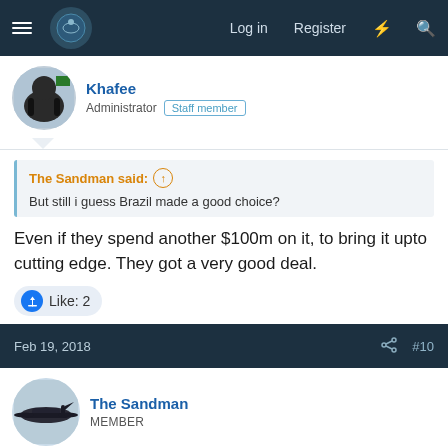Log in  Register  [lightning] [search]
Khafee
Administrator  Staff member
The Sandman said: ↑
But still i guess Brazil made a good choice?
Even if they spend another $100m on it, to bring it upto cutting edge. They got a very good deal.
Like: 2
Feb 19, 2018  #10
The Sandman
MEMBER
Khafee said: ↑